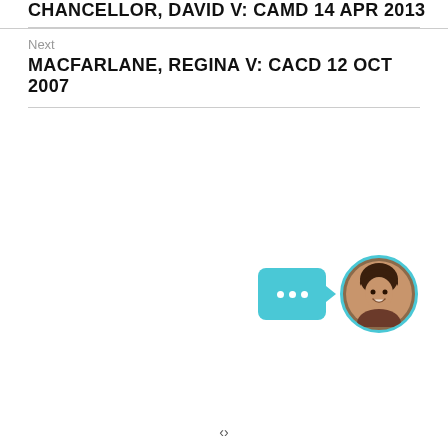CHANCELLOR, DAVID V: CAMD 14 APR 2013
Next
MACFARLANE, REGINA V: CACD 12 OCT 2007
[Figure (photo): Chat widget with teal speech bubble showing three white dots, and circular avatar showing a smiling woman with dark hair, bordered by a teal ring]